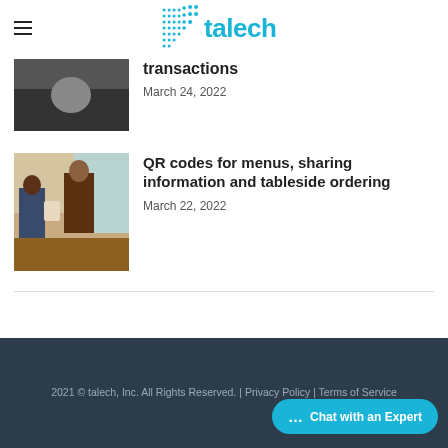talech
transactions
March 24, 2022
[Figure (photo): Restaurant scene photo]
QR codes for menus, sharing information and tableside ordering
March 22, 2022
2021 © talech, Inc. All Rights Reserved. | Privacy Policy | Terms of Service